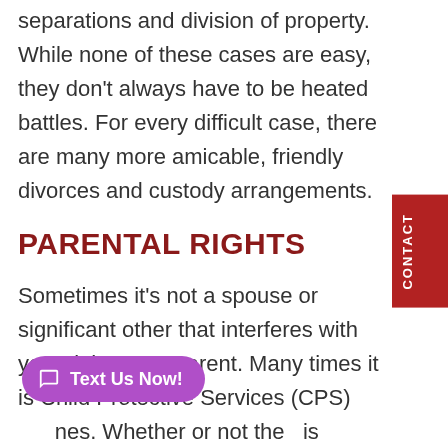separations and division of property. While none of these cases are easy, they don't always have to be heated battles. For every difficult case, there are many more amicable, friendly divorces and custody arrangements.
PARENTAL RIGHTS
Sometimes it's not a spouse or significant other that interferes with your rights as a parent. Many times it is Child Protective Services (CPS) …nes. Whether or not the …is justified depends upon your case, but many investigations